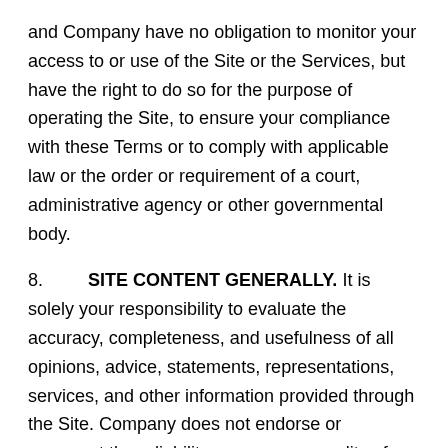and Company have no obligation to monitor your access to or use of the Site or the Services, but have the right to do so for the purpose of operating the Site, to ensure your compliance with these Terms or to comply with applicable law or the order or requirement of a court, administrative agency or other governmental body.
8. SITE CONTENT GENERALLY. It is solely your responsibility to evaluate the accuracy, completeness, and usefulness of all opinions, advice, statements, representations, services, and other information provided through the Site. Company does not endorse or represent the reliability, accuracy or quality of any information, goods, services or products displayed or advertised on the Site. Company makes no representations or warranties, express or implied, with respect to the information provided